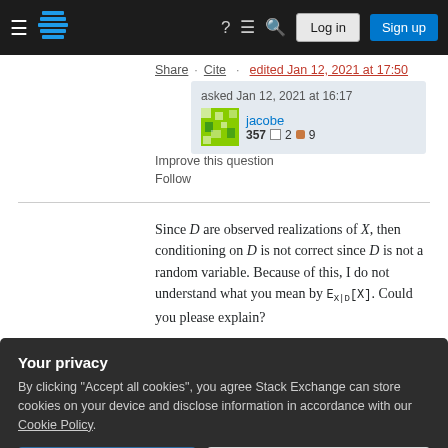Stack Exchange navigation bar with hamburger menu, logo, help, chat, search icons, Log in and Sign up buttons
Share  Cite   edited Jan 12, 2021 at 17:50
Improve this question
Follow
asked Jan 12, 2021 at 16:17  jacobe  357  2  9
Since D are observed realizations of X, then conditioning on D is not correct since D is not a random variable. Because of this, I do not understand what you mean by E_{X|D}[X]. Could you please explain?
Your privacy
By clicking "Accept all cookies", you agree Stack Exchange can store cookies on your device and disclose information in accordance with our Cookie Policy.
Accept all cookies   Customize settings
in words what you are trying to prove? – mhdadk Jan